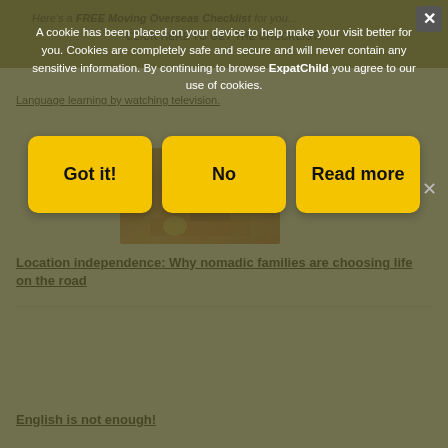Here’s a FREE Moving Overseas Checklist for you... CLICK HERE TO GET THE CHECKLIST!
Language learning by watching television.
[Figure (photo): Photo of a person sitting outdoors with orange/warm tones, food and drinks on table]
Location independence: Why nomadic families are choosing life on the road
English is not enough!
A cookie has been placed on your device to help make your visit better for you. Cookies are completely safe and secure and will never contain any sensitive information. By continuing to browse ExpatChild you agree to our use of cookies.